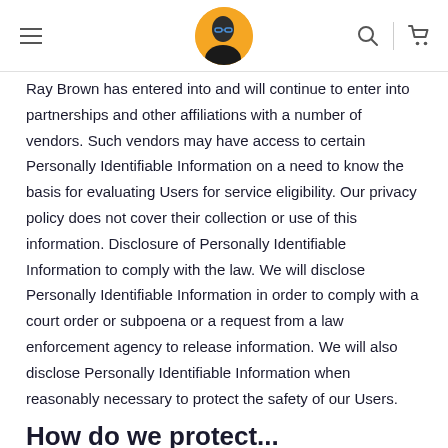[Navigation header with hamburger menu, avatar logo, search icon, and cart icon]
Ray Brown has entered into and will continue to enter into partnerships and other affiliations with a number of vendors. Such vendors may have access to certain Personally Identifiable Information on a need to know the basis for evaluating Users for service eligibility. Our privacy policy does not cover their collection or use of this information. Disclosure of Personally Identifiable Information to comply with the law. We will disclose Personally Identifiable Information in order to comply with a court order or subpoena or a request from a law enforcement agency to release information. We will also disclose Personally Identifiable Information when reasonably necessary to protect the safety of our Users.
How do we protect...